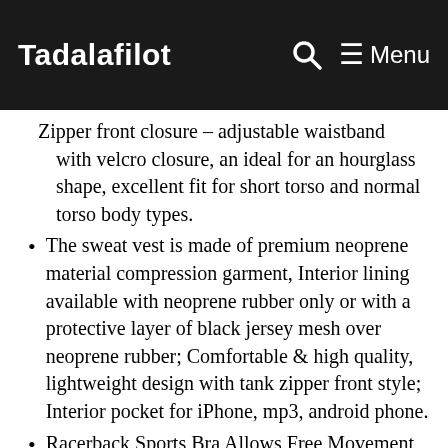Tadalafilot | Menu
Zipper front closure – adjustable waistband with velcro closure, an ideal for an hourglass shape, excellent fit for short torso and normal torso body types.
The sweat vest is made of premium neoprene material compression garment, Interior lining available with neoprene rubber only or with a protective layer of black jersey mesh over neoprene rubber; Comfortable & high quality, lightweight design with tank zipper front style; Interior pocket for iPhone, mp3, android phone.
Racerback Sports Bra Allows Free Movement, Form Fitting; Contours to Most Body Shapes, Continuous Full Coverage for the Upper Body, Great for women who desire to sweat more during their workout